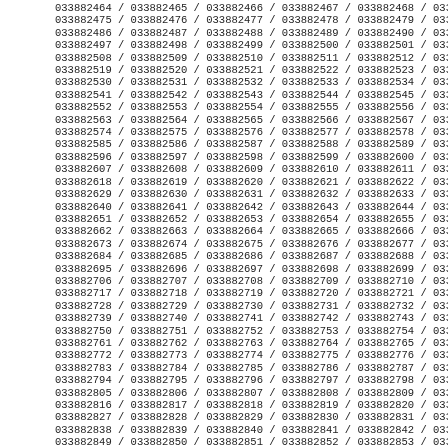033882464 / 033882465 / 033882466 / 033882467 / 033882468 / 033882469 / 03...
033882475 / 033882476 / 033882477 / 033882478 / 033882479 / 033882480 / 03...
033882486 / 033882487 / 033882488 / 033882489 / 033882490 / 033882491 / 03...
033882497 / 033882498 / 033882499 / 033882500 / 033882501 / 033882502 / 03...
033882508 / 033882509 / 033882510 / 033882511 / 033882512 / 033882513 / 03...
033882519 / 033882520 / 033882521 / 033882522 / 033882523 / 033882524 / 03...
033882530 / 033882531 / 033882532 / 033882533 / 033882534 / 033882535 / 03...
033882541 / 033882542 / 033882543 / 033882544 / 033882545 / 033882546 / 03...
033882552 / 033882553 / 033882554 / 033882555 / 033882556 / 033882557 / 03...
033882563 / 033882564 / 033882565 / 033882566 / 033882567 / 033882568 / 03...
033882574 / 033882575 / 033882576 / 033882577 / 033882578 / 033882579 / 03...
033882585 / 033882586 / 033882587 / 033882588 / 033882589 / 033882590 / 03...
033882596 / 033882597 / 033882598 / 033882599 / 033882600 / 033882601 / 03...
033882607 / 033882608 / 033882609 / 033882610 / 033882611 / 033882612 / 03...
033882618 / 033882619 / 033882620 / 033882621 / 033882622 / 033882623 / 03...
033882629 / 033882630 / 033882631 / 033882632 / 033882633 / 033882634 / 03...
033882640 / 033882641 / 033882642 / 033882643 / 033882644 / 033882645 / 03...
033882651 / 033882652 / 033882653 / 033882654 / 033882655 / 033882656 / 03...
033882662 / 033882663 / 033882664 / 033882665 / 033882666 / 033882667 / 03...
033882673 / 033882674 / 033882675 / 033882676 / 033882677 / 033882678 / 03...
033882684 / 033882685 / 033882686 / 033882687 / 033882688 / 033882689 / 03...
033882695 / 033882696 / 033882697 / 033882698 / 033882699 / 033882700 / 03...
033882706 / 033882707 / 033882708 / 033882709 / 033882710 / 033882711 / 03...
033882717 / 033882718 / 033882719 / 033882720 / 033882721 / 033882722 / 03...
033882728 / 033882729 / 033882730 / 033882731 / 033882732 / 033882733 / 03...
033882739 / 033882740 / 033882741 / 033882742 / 033882743 / 033882744 / 03...
033882750 / 033882751 / 033882752 / 033882753 / 033882754 / 033882755 / 03...
033882761 / 033882762 / 033882763 / 033882764 / 033882765 / 033882766 / 03...
033882772 / 033882773 / 033882774 / 033882775 / 033882776 / 033882777 / 03...
033882783 / 033882784 / 033882785 / 033882786 / 033882787 / 033882788 / 03...
033882794 / 033882795 / 033882796 / 033882797 / 033882798 / 033882799 / 03...
033882805 / 033882806 / 033882807 / 033882808 / 033882809 / 033882810 / 03...
033882816 / 033882817 / 033882818 / 033882819 / 033882820 / 033882821 / 03...
033882827 / 033882828 / 033882829 / 033882830 / 033882831 / 033882832 / 03...
033882838 / 033882839 / 033882840 / 033882841 / 033882842 / 033882843 / 03...
033882849 / 033882850 / 033882851 / 033882852 / 033882853 / 033882854 / 03...
033882860 / 033882861 / 033882862 / 033882863 / 033882864 / 033882865 / 03...
033882871 / 033882872 / 033882873 / 033882874 / 033882875 / 033882876 / 03...